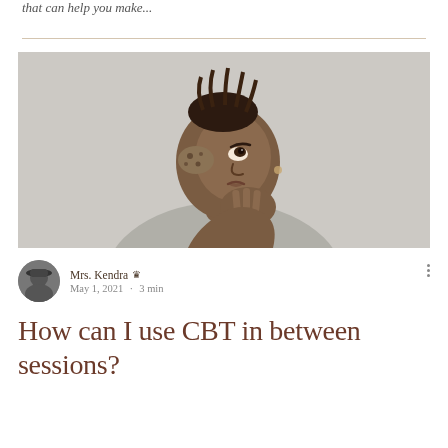that can help you make...
[Figure (photo): A Black woman with locs pinned up, wearing a grey shirt, looking upward thoughtfully with her hand raised near her chin, against a light grey background.]
Mrs. Kendra 👑
May 1, 2021 · 3 min
How can I use CBT in between sessions?